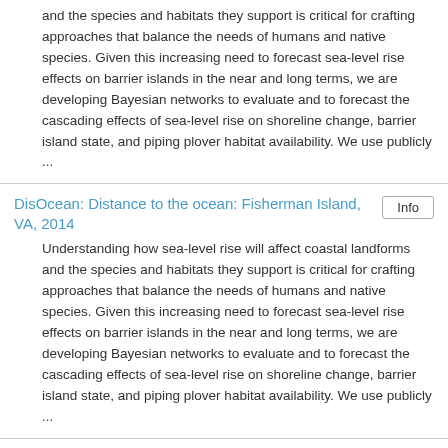and the species and habitats they support is critical for crafting approaches that balance the needs of humans and native species. Given this increasing need to forecast sea-level rise effects on barrier islands in the near and long terms, we are developing Bayesian networks to evaluate and to forecast the cascading effects of sea-level rise on shoreline change, barrier island state, and piping plover habitat availability. We use publicly ...
DisOcean: Distance to the ocean: Fisherman Island, VA, 2014
Understanding how sea-level rise will affect coastal landforms and the species and habitats they support is critical for crafting approaches that balance the needs of humans and native species. Given this increasing need to forecast sea-level rise effects on barrier islands in the near and long terms, we are developing Bayesian networks to evaluate and to forecast the cascading effects of sea-level rise on shoreline change, barrier island state, and piping plover habitat availability. We use publicly ...
DisOcean: Distance to the ocean: Metompkin Island, VA, 2014
Understanding how sea-level rise will affect coastal landforms and the species and habitats they support is critical for crafting approaches that balance the needs of humans and native